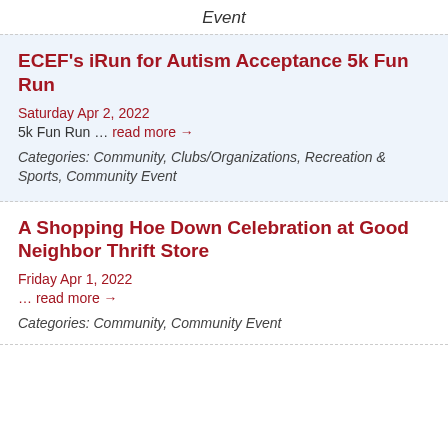Event
ECEF's iRun for Autism Acceptance 5k Fun Run
Saturday Apr 2, 2022
5k Fun Run ... read more →
Categories: Community, Clubs/Organizations, Recreation & Sports, Community Event
A Shopping Hoe Down Celebration at Good Neighbor Thrift Store
Friday Apr 1, 2022
... read more →
Categories: Community, Community Event